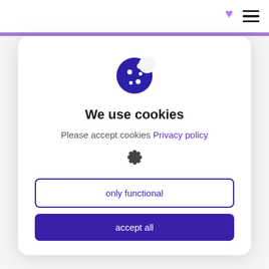What Is Included In This
[Figure (illustration): Cookie consent modal dialog with cookie icon, title 'We use cookies', descriptive text, settings gear icon, and two buttons: 'only functional' and 'accept all']
We use cookies
Please accept cookies Privacy policy
only functional
accept all